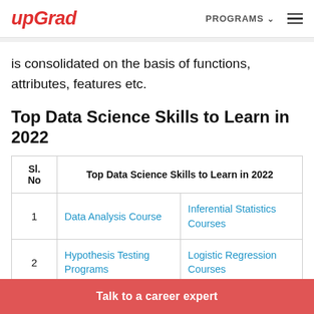upGrad | PROGRAMS
is consolidated on the basis of functions, attributes, features etc.
Top Data Science Skills to Learn in 2022
| Sl. No | Top Data Science Skills to Learn in 2022 |
| --- | --- |
| 1 | Data Analysis Course | Inferential Statistics Courses |
| 2 | Hypothesis Testing Programs | Logistic Regression Courses |
Talk to a career expert